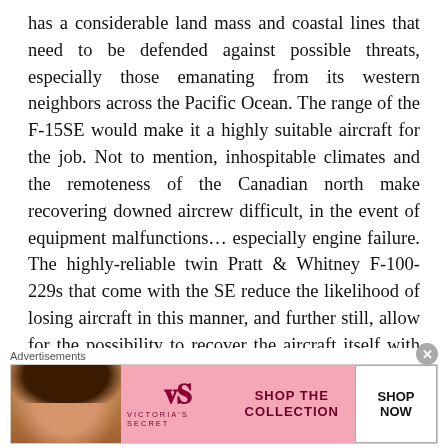has a considerable land mass and coastal lines that need to be defended against possible threats, especially those emanating from its western neighbors across the Pacific Ocean. The range of the F-15SE would make it a highly suitable aircraft for the job. Not to mention, inhospitable climates and the remoteness of the Canadian north make recovering downed aircrew difficult, in the event of equipment malfunctions... especially engine failure. The highly-reliable twin Pratt & Whitney F-100-229s that come with the SE reduce the likelihood of losing aircraft in this manner, and further still, allow for the possibility to recover the aircraft itself with just one engine functioning. Also, I figured I'd throw in a
[Figure (other): Victoria's Secret advertisement banner with a woman model on the left, VS logo in the center on a pink background, 'SHOP THE COLLECTION' text, and a 'SHOP NOW' white button on the right.]